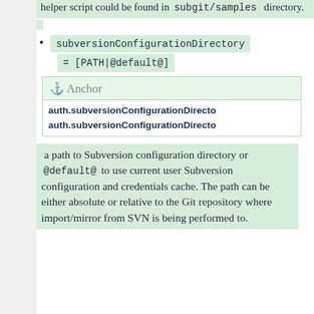helper script could be found in subgit/samples directory.
subversionConfigurationDirectory = [PATH|@default@]
⚓ Anchor
auth.subversionConfigurationDirectory
auth.subversionConfigurationDirectory
a path to Subversion configuration directory or @default@ to use current user Subversion configuration and credentials cache. The path can be either absolute or relative to the Git repository where import/mirror from SVN is being performed to.